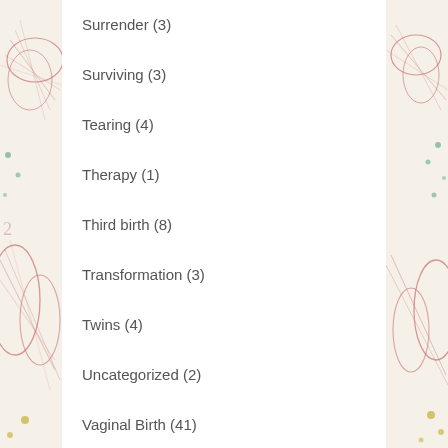Surrender (3)
Surviving (3)
Tearing (4)
Therapy (1)
Third birth (8)
Transformation (3)
Twins (4)
Uncategorized (2)
Vaginal Birth (41)
VBAC (5)
Vocalizing (9)